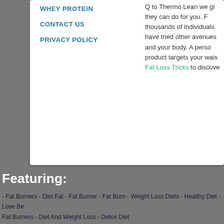WHEY PROTEIN
CONTACT US
PRIVACY POLICY
Q to Thermo Lean we give they can do for you. F thousands of individuals have tried other avenues and your body. A person product targets your waist Fat Loss Tricks to discove
Featuring:
- Fat Burners - Diet Fat - Fat Burner - Fat Burn - Weight Loss Diets - Healthy Diet - Lose Be Fat Burners - Diet And Weight Loss - Detox Diet